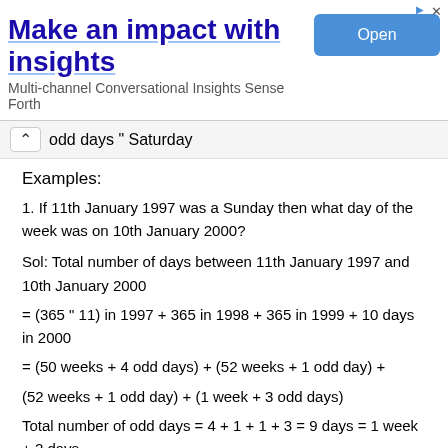[Figure (other): Advertisement banner: 'Make an impact with insights' with Open button, subtitle 'Multi-channel Conversational Insights Sense Forth']
odd days " Saturday
Examples:
1. If 11th January 1997 was a Sunday then what day of the week was on 10th January 2000?
Sol: Total number of days between 11th January 1997 and 10th January 2000
= (365 " 11) in 1997 + 365 in 1998 + 365 in 1999 + 10 days in 2000
= (50 weeks + 4 odd days) + (52 weeks + 1 odd day) +
(52 weeks + 1 odd day) + (1 week + 3 odd days)
Total number of odd days = 4 + 1 + 1 + 3 = 9 days = 1 week + 2 days